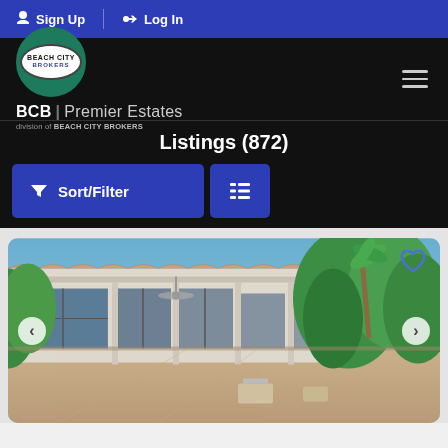Sign Up | Log In
[Figure (logo): Beach City Brokers circular logo with BCB | Premier Estates branding]
Listings (872)
Sort/Filter (button) | List view (button)
[Figure (photo): Exterior photo of a ranch-style house with covered patio, large glass sliding doors, ceiling fan, stone/tile patio floor, palm tree and green trees in background, blue sky]